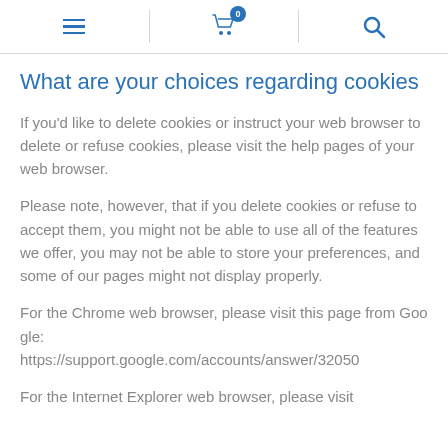[Figure (other): Website navigation header bar with hamburger menu icon, shopping cart icon with badge showing 0, and search icon]
What are your choices regarding cookies
If you'd like to delete cookies or instruct your web browser to delete or refuse cookies, please visit the help pages of your web browser.
Please note, however, that if you delete cookies or refuse to accept them, you might not be able to use all of the features we offer, you may not be able to store your preferences, and some of our pages might not display properly.
For the Chrome web browser, please visit this page from Google:
https://support.google.com/accounts/answer/32050
For the Internet Explorer web browser, please visit